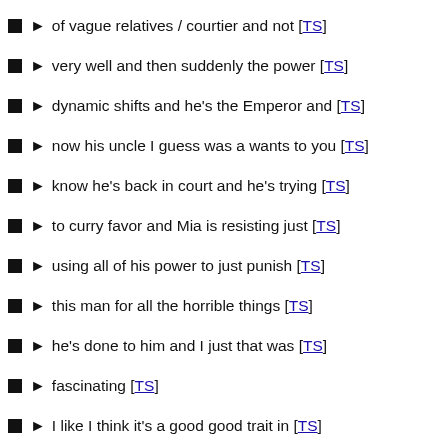of vague relatives / courtier and not [TS]
very well and then suddenly the power [TS]
dynamic shifts and he's the Emperor and [TS]
now his uncle I guess was a wants to you [TS]
know he's back in court and he's trying [TS]
to curry favor and Mia is resisting just [TS]
using all of his power to just punish [TS]
this man for all the horrible things [TS]
he's done to him and I just that was [TS]
fascinating [TS]
I like I think it's a good good trait in [TS]
an emperor and I think this is the point [TS]